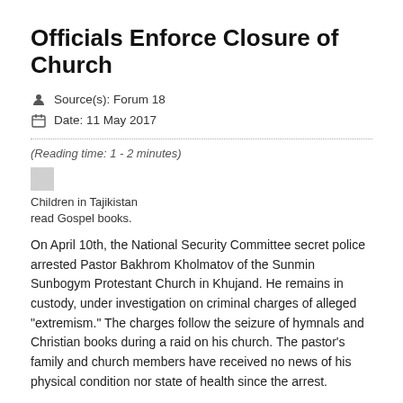Officials Enforce Closure of Church
Source(s): Forum 18
Date: 11 May 2017
(Reading time: 1 - 2 minutes)
[Figure (photo): Small grey placeholder image representing children in Tajikistan reading Gospel books.]
Children in Tajikistan read Gospel books.
On April 10th, the National Security Committee secret police arrested Pastor Bakhrom Kholmatov of the Sunmin Sunbogym Protestant Church in Khujand. He remains in custody, under investigation on criminal charges of alleged "extremism." The charges follow the seizure of hymnals and Christian books during a raid on his church. The pastor's family and church members have received no news of his physical condition nor state of health since the arrest.